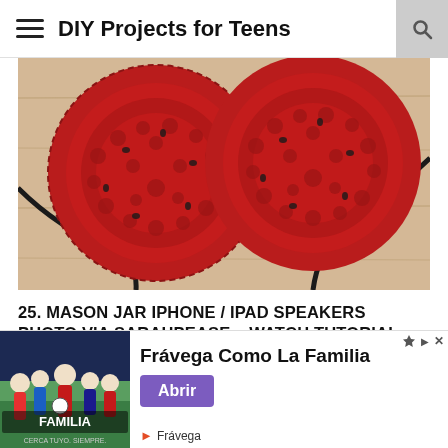DIY Projects for Teens
[Figure (photo): Crochet-covered headphone ear cups in red and black yarn, resting on a wooden surface with headphone cable visible]
25. MASON JAR IPHONE / IPAD SPEAKERS PHOTO VIA SARAHPEASE – WATCH TUTORIAL AT YOUTUBE
[Figure (screenshot): Gray content area partially visible with a white chevron/collapse button on the left side]
[Figure (infographic): Advertisement for Frávega Como La Familia showing a group of people, with text 'Frávega Como La Familia', an 'Abrir' purple button, and Frávega logo at the bottom]